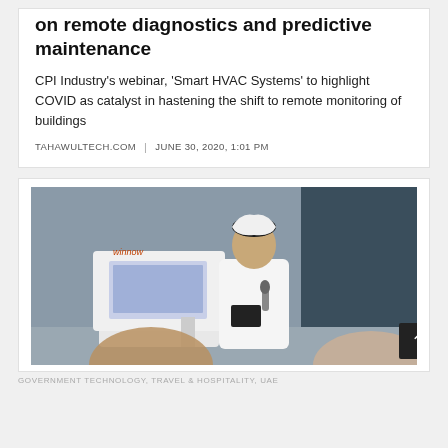on remote diagnostics and predictive maintenance
CPI Industry's webinar, 'Smart HVAC Systems' to highlight COVID as catalyst in hastening the shift to remote monitoring of buildings
TAHAWULTECH.COM | JUNE 30, 2020, 1:01 PM
[Figure (photo): A man in traditional Emirati white thobe and black agal headpiece stands at a podium holding a microphone and a tablet/folder. A 'winnow' branded kiosk with a touch screen is visible to his left. In the foreground, the back of a bald man's head is partially visible. The background is dark gray.]
GOVERNMENT TECHNOLOGY, TRAVEL & HOSPITALITY, UAE